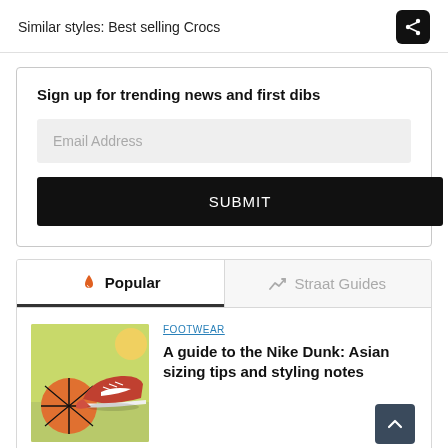Similar styles: Best selling Crocs
Sign up for trending news and first dibs
Email Address
SUBMIT
Popular
Straat Guides
FOOTWEAR
A guide to the Nike Dunk: Asian sizing tips and styling notes
[Figure (illustration): Illustration of Nike Dunk sneakers with a basketball on a colorful background]